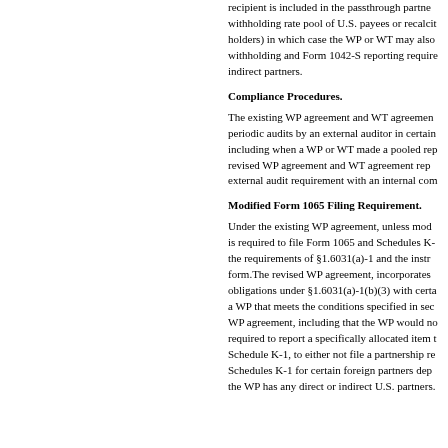recipient is included in the passthrough partner withholding rate pool of U.S. payees or recalcit holders) in which case the WP or WT may also withholding and Form 1042-S reporting require indirect partners.
Compliance Procedures.
The existing WP agreement and WT agreemen periodic audits by an external auditor in certain including when a WP or WT made a pooled rep revised WP agreement and WT agreement rep external audit requirement with an internal com
Modified Form 1065 Filing Requirement.
Under the existing WP agreement, unless mod is required to file Form 1065 and Schedules K- the requirements of §1.6031(a)-1 and the instr form.The revised WP agreement, incorporates obligations under §1.6031(a)-1(b)(3) with certa a WP that meets the conditions specified in sec WP agreement, including that the WP would no required to report a specifically allocated item t Schedule K-1, to either not file a partnership re Schedules K-1 for certain foreign partners dep the WP has any direct or indirect U.S. partners.